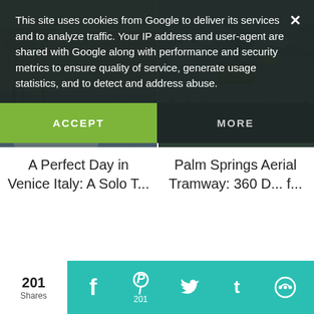This site uses cookies from Google to deliver its services and to analyze traffic. Your IP address and user-agent are shared with Google along with performance and security metrics to ensure quality of service, generate usage statistics, and to detect and address abuse.
ACCEPT
MORE
[Figure (photo): Venice Italy canal with boats and classical buildings along the waterfront]
A Perfect Day in Venice Italy: A Solo T...
[Figure (photo): Palm Springs Aerial Tramway cable car on snowy mountain terrain]
Palm Springs Aerial Tramway: 360 D... f...
201 Shares
[Figure (infographic): Social share bar with Facebook, Pinterest (201), Twitter, Tumblr, and other icons on teal background]